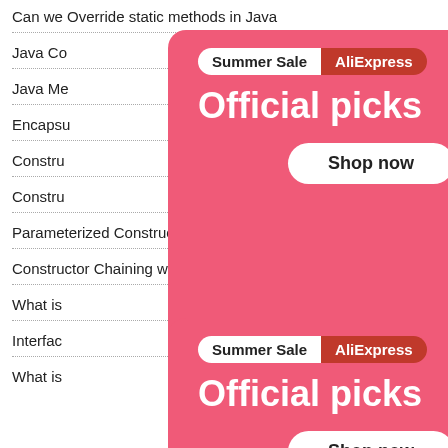Can we Override static methods in Java
Java Co…
Java Me…
Encapsu…
Constru…
Constru…
Parameterized Constructor in Java
Constructor Chaining with example
What is…
Interfac…
What is…
[Figure (advertisement): AliExpress Summer Sale ad banner with 'Official picks' heading and 'Shop now' button, showing a robot vacuum, PC tower, and gaming console]
[Figure (advertisement): AliExpress Summer Sale ad banner (second instance) partially visible with 'Official picks' heading and 'Shop now' button, showing partial robot vacuum]